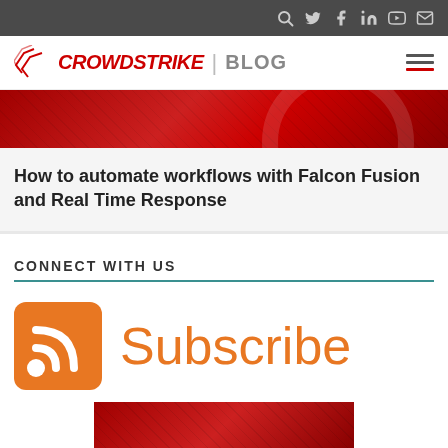CrowdStrike Blog - navigation bar with social icons
[Figure (screenshot): CrowdStrike Blog logo header with hamburger menu]
[Figure (photo): Red abstract hero banner image]
How to automate workflows with Falcon Fusion and Real Time Response
CONNECT WITH US
[Figure (logo): Orange RSS feed icon for Subscribe]
Subscribe
[Figure (photo): Partial red banner image at bottom]